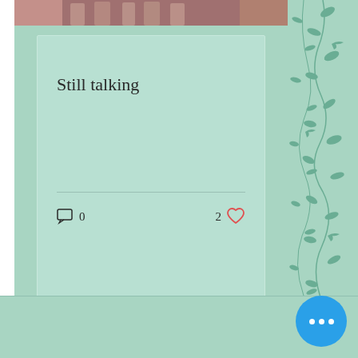[Figure (photo): Top photo strip showing people in traditional/formal attire, cropped at top of page]
Still talking
0 comments, 2 likes
[Figure (infographic): Pagination indicator with three dots, first dot active (filled teal), two inactive (grey outline)]
[Figure (infographic): Blue circular FAB button with three white dots (more options)]
[Figure (illustration): Decorative right panel with teal bird and leaf/branch pattern on medium teal background]